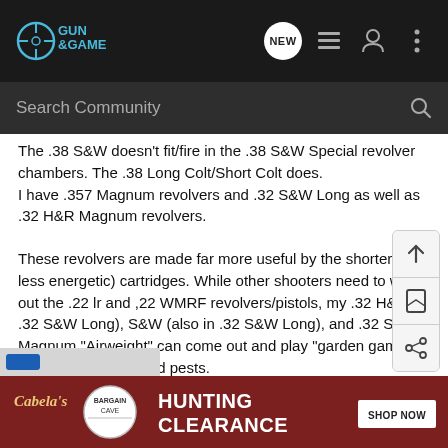Gun & Game — Search Community
The .38 S&W doesn't fit/fire in the .38 S&W Special revolver chambers. The .38 Long Colt/Short Colt does.
I have .357 Magnum revolvers and .32 S&W Long as well as .32 H&R Magnum revolvers.
These revolvers are made far more useful by the shorter (and less energetic) cartridges. While other shooters need to whip out the .22 lr and ,22 WMRF revolvers/pistols, my .32 H&R (in .32 S&W Long), S&W (also in .32 S&W Long), and .32 S&W Magnum "Airweight" can come out and play "garden games" with the neighborhood pests.
[Figure (screenshot): Cabela's Hunting Clearance ad banner with Bargain Cave badge and Shop Now button]